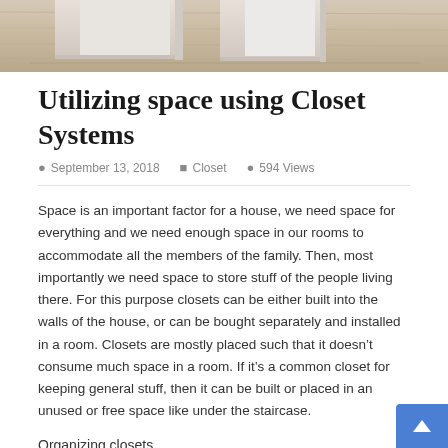[Figure (photo): Partial photo of closet/shelving system with light wood tones, cropped at top of page]
Utilizing space using Closet Systems
September 13, 2018   Closet   594 Views
Space is an important factor for a house, we need space for everything and we need enough space in our rooms to accommodate all the members of the family. Then, most importantly we need space to store stuff of the people living there. For this purpose closets can be either built into the walls of the house, or can be bought separately and installed in a room. Closets are mostly placed such that it doesn’t consume much space in a room. If it’s a common closet for keeping general stuff, then it can be built or placed in an unused or free space like under the staircase.
Organizing closets
After placing a closet it is important to utilize the space in it such that